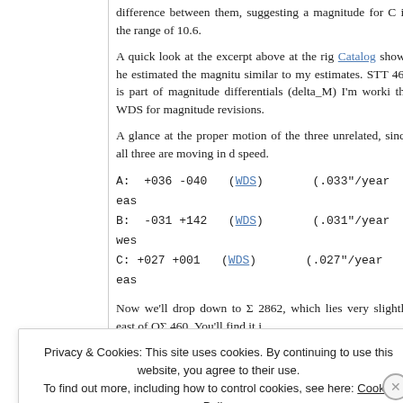difference between them, suggesting a magnitude for C in the range of 10.6.
A quick look at the excerpt above at the right at the Catalog shows he estimated the magnitude similar to my estimates. STT 460 is part of magnitude differentials (delta_M) I'm working the WDS for magnitude revisions.
A glance at the proper motion of the three unrelated, since all three are moving in different speed.
A:  +036 -040   (WDS)        (.033"/year east
B:  -031 +142   (WDS)        (.031"/year west
C: +027 +001   (WDS)        (.027"/year east
Now we'll drop down to Σ 2862, which lies very slightly east of OΣ 460. You'll find it j
Privacy & Cookies: This site uses cookies. By continuing to use this website, you agree to their use.
To find out more, including how to control cookies, see here: Cookie Policy
Close and accept